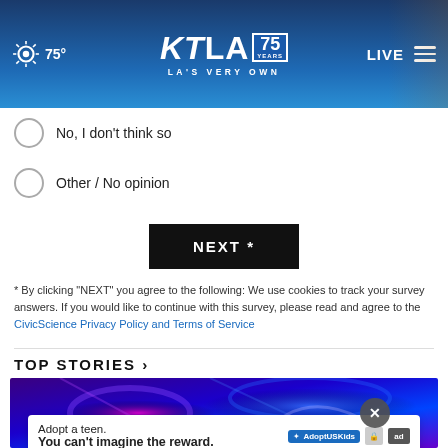KTLA 75 Years — LA's Very Own | 75° | LIVE
No, I don't think so
Other / No opinion
NEXT *
* By clicking "NEXT" you agree to the following: We use cookies to track your survey answers. If you would like to continue with this survey, please read and agree to the CivicScience Privacy Policy and Terms of Service
TOP STORIES ›
[Figure (photo): Blue and purple police lights illuminated scene, abstract/bokeh style photo]
Adopt a teen. You can't imagine the reward.